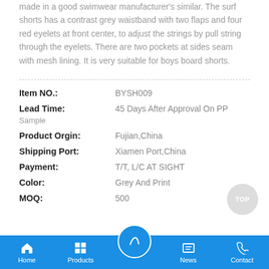made in a good swimwear manufacturer's similar. The surf shorts has a contrast grey waistband with two flaps and four red eyelets at front center, to adjust the strings by pull string through the eyelets. There are two pockets at sides seam with mesh lining. It is very suitable for boys board shorts.
Item NO.: BYSH009
Lead Time: 45 Days After Approval On PP
Sample
Product Orgin: Fujian,China
Shipping Port: Xiamen Port,China
Payment: T/T, L/C AT SIGHT
Color: Grey And Print
MOQ: 500
Home | Products | (write) | News | Contact